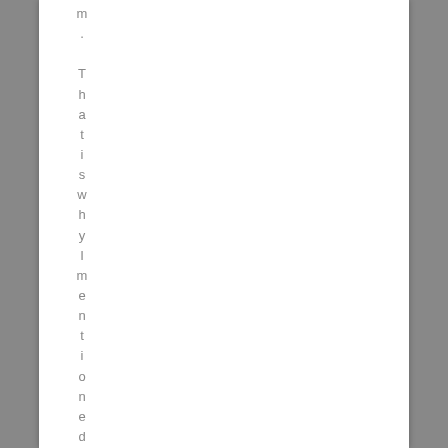m. That is why I mentioned a L